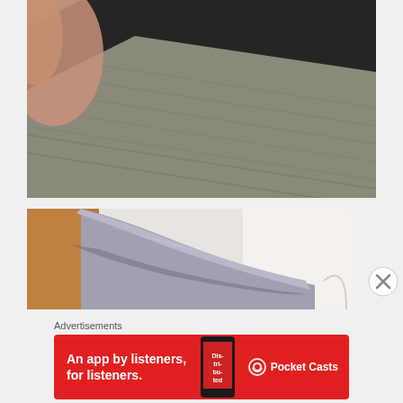[Figure (photo): Close-up photo of a hand holding a dark fabric against a gray textile surface]
[Figure (photo): Close-up photo of what appears to be a folded leather/vinyl surface with white area in background]
Advertisements
[Figure (other): Pocket Casts advertisement banner: 'An app by listeners, for listeners.' with phone image and Pocket Casts logo on red background]